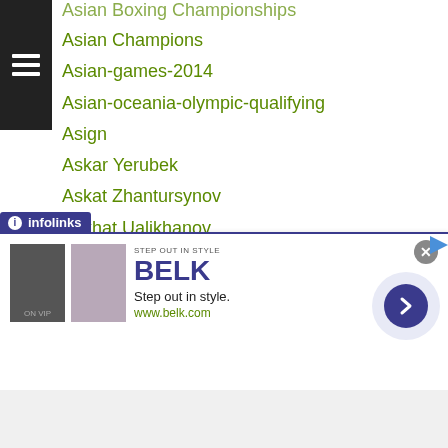Asian Boxing Championships
Asian Champions
Asian-games-2014
Asian-oceania-olympic-qualifying
Asign
Askar Yerubek
Askat Zhantursynov
Askhat Ualikhanov
Aslan Mukanov
Aso Ishiwaki
Astana Arlans
Aston Palicte
Atchariya Wirojanasunobol
Atomweight
Atsuki Nakamura
Atsushi Iwasaki
Kakutani
[Figure (screenshot): Advertisement banner for BELK - Step out in style. www.belk.com with two product images and infolinks branding bar]